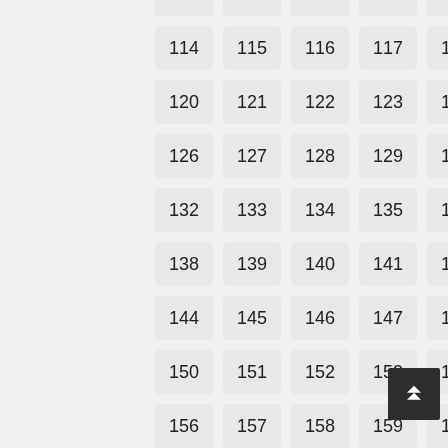108, 109, 110, 111, 112, 113, 114, 115, 116, 117, 118, 119, 120, 121, 122, 123, 124, 125, 126, 127, 128, 129, 130, 131, 132, 133, 134, 135, 136, 137, 138, 139, 140, 141, 142, 143, 144, 145, 146, 147, 148, 149, 150, 151, 152, 153, 154, 155, 156, 157, 158, 159, 160, 161, 162, 163, 164, 165, 166, 167